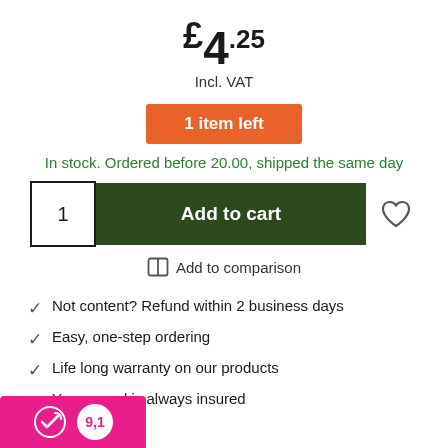£4.25
Incl. VAT
1 item left
In stock. Ordered before 20.00, shipped the same day
1
Add to cart
Add to comparison
Not content? Refund within 2 business days
Easy, one-step ordering
Life long warranty on our products
Your parcel is always insured
9,1